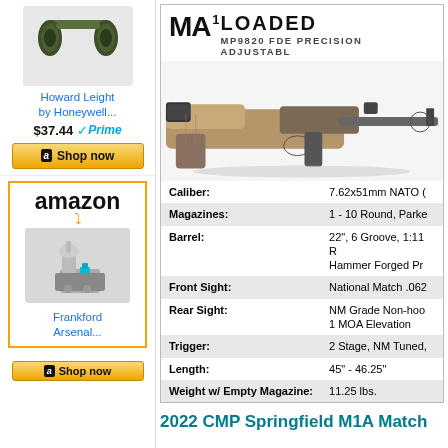[Figure (photo): Howard Leight electronic ear protection muffs in green/black, product photo]
Howard Leight by Honeywell...
$37.44
Shop now
[Figure (logo): Amazon logo with orange smile arrow]
[Figure (photo): Frankford Arsenal reloading/case prep machine, silver and teal, product photo]
Frankford Arsenal...
Shop now
[Figure (logo): M1A logo with superscript 1]
LOADED
MP9820 FDE PRECISION ADJUSTABL
[Figure (photo): Springfield M1A Loaded rifle in FDE/tan precision adjustable stock, side profile view]
| Specification | Value |
| --- | --- |
| Caliber: | 7.62x51mm NATO ( |
| Magazines: | 1 - 10 Round, Parke |
| Barrel: | 22", 6 Groove, 1:11 R Hammer Forged Pr |
| Front Sight: | National Match .062 |
| Rear Sight: | NM Grade Non-hoo 1 MOA Elevation |
| Trigger: | 2 Stage, NM Tuned, |
| Length: | 45" - 46.25" |
| Weight w/ Empty Magazine: | 11.25 lbs. |
2022 CMP Springfield M1A Match